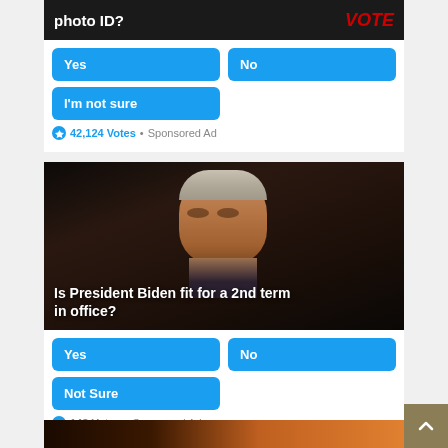[Figure (screenshot): Top portion of a social media poll card showing partial text 'photo ID?' with a VOTE graphic, with Yes, No, and I'm not sure buttons, 42,124 Votes, Sponsored Ad]
Yes
No
I'm not sure
42,124 Votes • Sponsored Ad
[Figure (photo): Photo of President Biden with overlaid text: Is President Biden fit for a 2nd term in office?]
Yes
No
Not Sure
148 Votes • Sponsored Ad